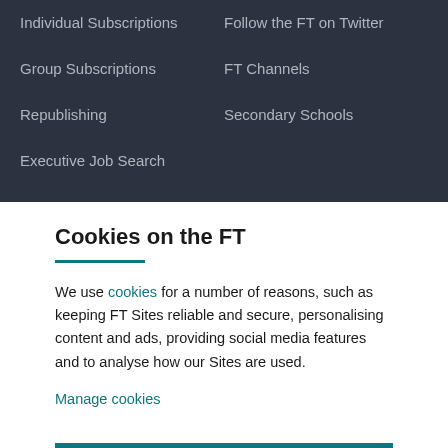Individual Subscriptions
Follow the FT on Twitter
Group Subscriptions
FT Channels
Republishing
Secondary Schools
Executive Job Search
Cookies on the FT
We use cookies for a number of reasons, such as keeping FT Sites reliable and secure, personalising content and ads, providing social media features and to analyse how our Sites are used.
Manage cookies
Accept & continue